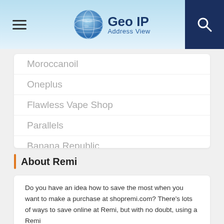Geo IP Address View
Moroccanoil
Oneplus
Flawless Vape Shop
Parallels
Banana Republic
Famous Footwear
5.11 Tactical
Vistaprint
About Remi
Do you have an idea how to save the most when you want to make a purchase at shopremi.com? There's lots of ways to save online at Remi, but with no doubt, using a Remi